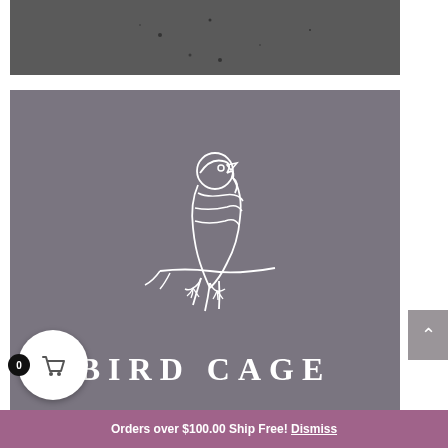[Figure (photo): Dark textured background image at top of page]
[Figure (logo): Bird Cage logo: line drawing of a bird perched on a branch on a gray background with BIRD CAGE text below]
Orders over $100.00 Ship Free! Dismiss